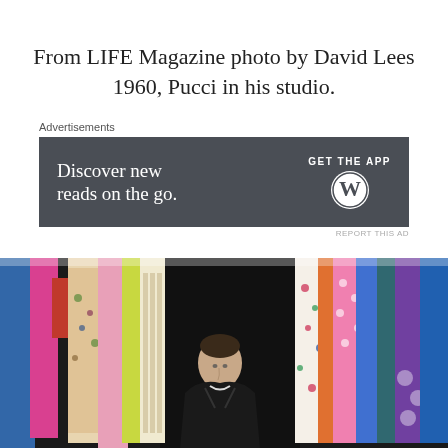From LIFE Magazine photo by David Lees 1960, Pucci in his studio.
Advertisements
[Figure (other): Advertisement banner for WordPress app: 'Discover new reads on the go. GET THE APP' with WordPress logo on dark grey background.]
[Figure (photo): Black and white photograph of Pucci in his studio surrounded by colorful hanging garments/fabric swatches, 1960, photo by David Lees for LIFE Magazine.]